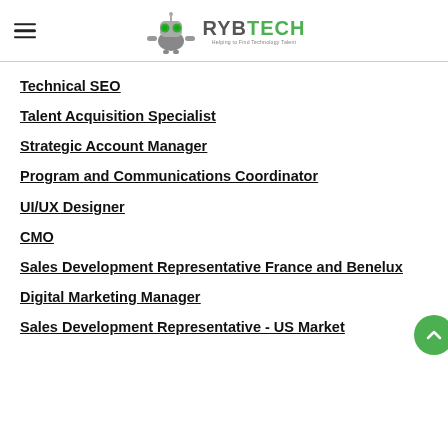RYBTECH
Technical SEO
Talent Acquisition Specialist
Strategic Account Manager
Program and Communications Coordinator
UI/UX Designer
CMO
Sales Development Representative France and Benelux
Digital Marketing Manager
Sales Development Representative - US Market